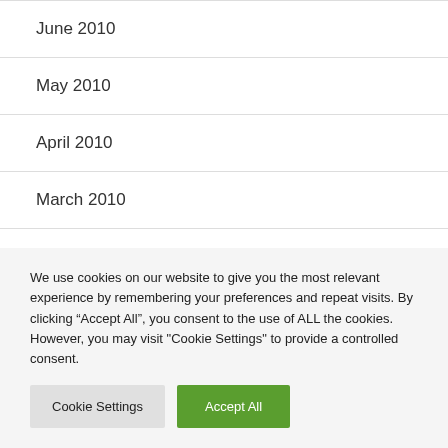June 2010
May 2010
April 2010
March 2010
December 2009
We use cookies on our website to give you the most relevant experience by remembering your preferences and repeat visits. By clicking “Accept All”, you consent to the use of ALL the cookies. However, you may visit "Cookie Settings" to provide a controlled consent.
Cookie Settings | Accept All